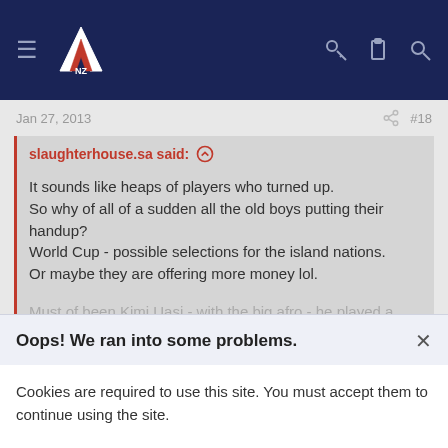NZ Warriors forum navigation bar
Jan 27, 2013   #18
slaughterhouse.sa said: ↑
It sounds like heaps of players who turned up.
So why of all of a sudden all the old boys putting their handup?
World Cup - possible selections for the island nations.
Or maybe they are offering more money lol.

Must of been Kimi Uasi - with the big afro - he played a long career in reserve grade didnt quite crack NRL.
Click to expand...
Thanks for the intel. Pity about Kimi's age. He played really well and
Oops! We ran into some problems.
Cookies are required to use this site. You must accept them to continue using the site.